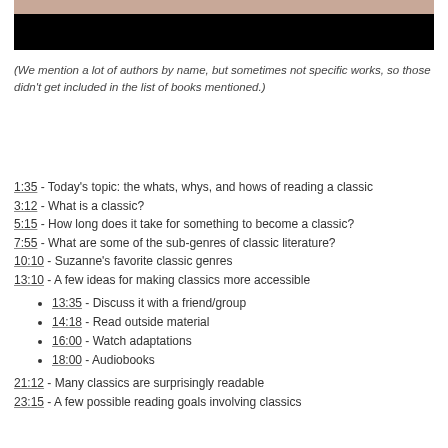[Figure (photo): Partial photo of a person with a black bar at the bottom]
(We mention a lot of authors by name, but sometimes not specific works, so those didn't get included in the list of books mentioned.)
1:35 - Today's topic: the whats, whys, and hows of reading a classic
3:12 - What is a classic?
5:15 - How long does it take for something to become a classic?
7:55 - What are some of the sub-genres of classic literature?
10:10 - Suzanne's favorite classic genres
13:10 - A few ideas for making classics more accessible
13:35 - Discuss it with a friend/group
14:18 - Read outside material
16:00 - Watch adaptations
18:00 - Audiobooks
21:12 - Many classics are surprisingly readable
23:15 - A few possible reading goals involving classics